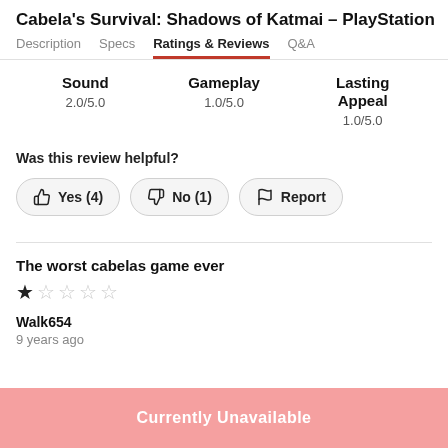Cabela's Survival: Shadows of Katmai - PlayStation
Description  Specs  Ratings & Reviews  Q&A
Sound 2.0/5.0   Gameplay 1.0/5.0   Lasting Appeal 1.0/5.0
Was this review helpful?
Yes (4)   No (1)   Report
The worst cabelas game ever
★☆☆☆☆
Walk654
9 years ago
Currently Unavailable